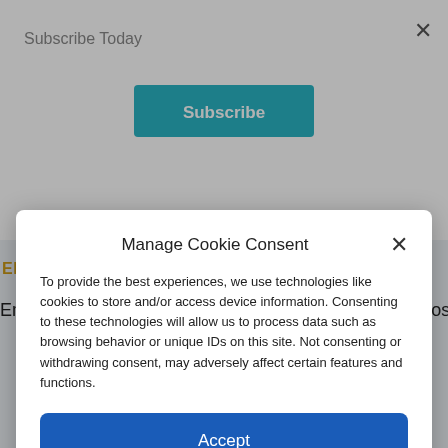Subscribe Today
[Figure (other): Subscribe button - teal rounded rectangle with white bold text 'Subscribe']
EMPLOYMENT OPPORTUNITIES
Employment opportunities in standardization include positions
Manage Cookie Consent
To provide the best experiences, we use technologies like cookies to store and/or access device information. Consenting to these technologies will allow us to process data such as browsing behavior or unique IDs on this site. Not consenting or withdrawing consent, may adversely affect certain features and functions.
[Figure (other): Accept button - dark blue rounded rectangle with white text 'Accept']